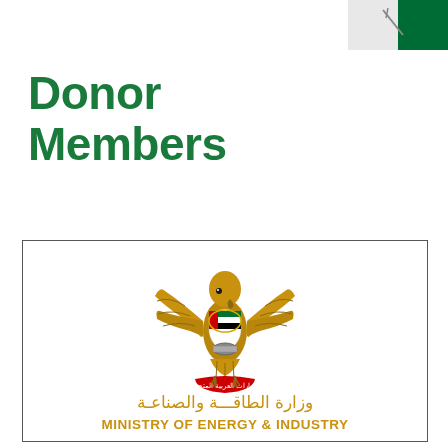[Figure (logo): Partial Saudi Arabia flag logo in top right corner]
Donor Members
[Figure (logo): UAE Ministry of Energy and Industry official logo featuring the golden UAE falcon emblem with UAE flag on chest, Arabic text 'الإمارات العربية المتحدة' on red banner, Arabic text 'وزارة الطاقة والصناعة' and English text 'MINISTRY OF ENERGY & INDUSTRY']